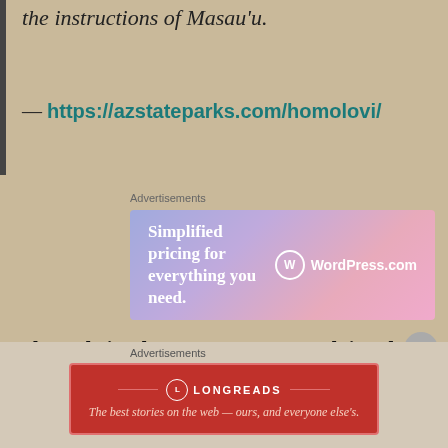the instructions of Masau’u.
— https://azstateparks.com/homolovi/
[Figure (screenshot): WordPress.com advertisement banner: 'Simplified pricing for everything you need.' with WordPress.com logo on gradient blue-pink background.]
The website does not go on to explain who or what the Bahana is, and while we can guess by context, it does not expand on the concept of Masau’u. None of which is surprising.
The Hopi Tribe is notoriously insular. They
[Figure (screenshot): Longreads advertisement banner: 'The best stories on the web — ours, and everyone else’s.' on dark red background.]